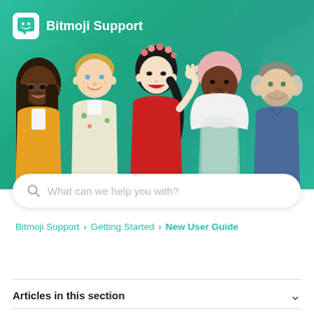Bitmoji Support
[Figure (illustration): Five cartoon Bitmoji avatars standing together against a teal geometric background. From left to right: a dark-skinned woman with glasses and long hair in a yellow jacket; a light-skinned man with blonde hair in a floral shirt; a woman with black hair in a flower crown wearing a red dress; a woman with a pink head wrap and a white scarf; a man with short hair and a beard in a blue shirt.]
What can we help you with?
Bitmoji Support > Getting Started > New User Guide
Articles in this section